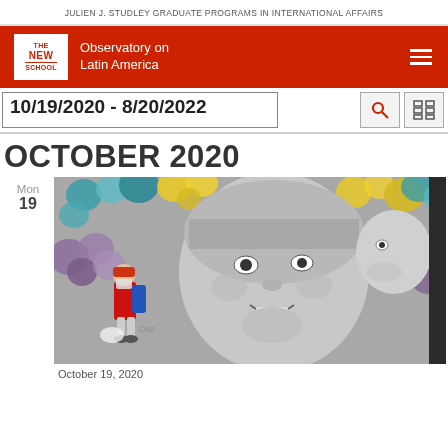JULIEN J. STUDLEY GRADUATE PROGRAMS IN INTERNATIONAL AFFAIRS
[Figure (logo): The New School logo with 'Observatory on Latin America' text and hamburger menu on red background]
10/19/2020 - 8/20/2022
OCTOBER 2020
Mon
19
[Figure (photo): A person wearing a face mask and colorful clothing walks in front of a large mural depicting an indigenous woman smiling and a child, with colorful flowers in the background.]
October 19, 2020